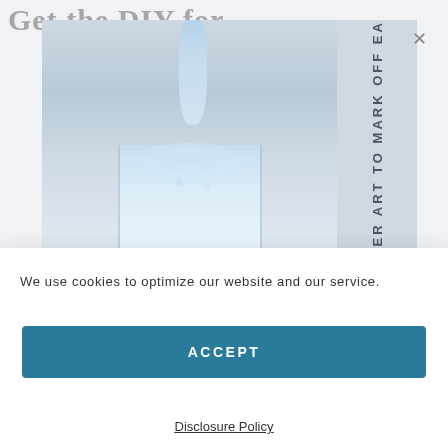[Figure (screenshot): Website screenshot showing a water pouring into glass photo with title 'Get the DIY for' partially visible, and vertical text reading 'K MORE WATER' and 'ART TO MARK OFF EACH GLASS' on the right side. A close (X) button is visible.]
We use cookies to optimize our website and our service.
ACCEPT
Disclosure Policy